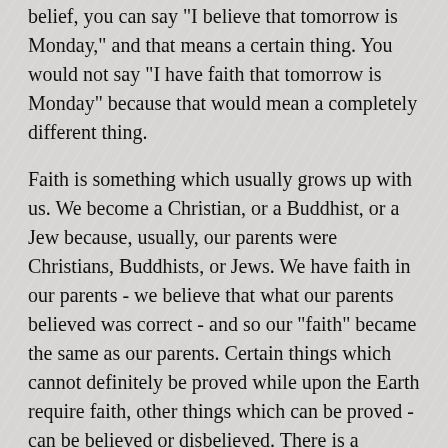belief, you can say "I believe that tomorrow is Monday," and that means a certain thing. You would not say "I have faith that tomorrow is Monday" because that would mean a completely different thing.
Faith is something which usually grows up with us. We become a Christian, or a Buddhist, or a Jew because, usually, our parents were Christians, Buddhists, or Jews. We have faith in our parents - we believe that what our parents believed was correct - and so our "faith" became the same as our parents. Certain things which cannot definitely be proved while upon the Earth require faith, other things which can be proved - can be believed or disbelieved. There is a distinction (forskjell), and one should become aware of that distinction.
But, first of all, what do you want to believe, what is it that requires your faith? Decide what it is that needs faith, think of it from all angles.